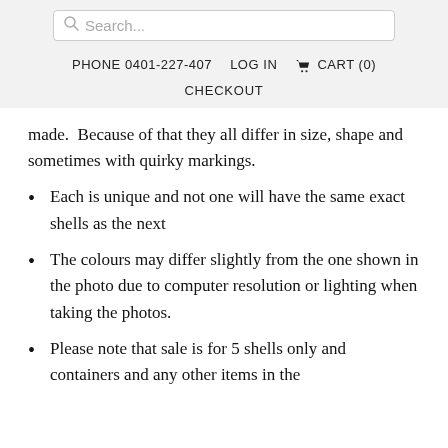Search... | PHONE 0401-227-407 | LOG IN | CART (0) | CHECKOUT
made.  Because of that they all differ in size, shape and sometimes with quirky markings.
Each is unique and not one will have the same exact shells as the next
The colours may differ slightly from the one shown in the photo due to computer resolution or lighting when taking the photos.
Please note that sale is for 5 shells only and containers and any other items in the